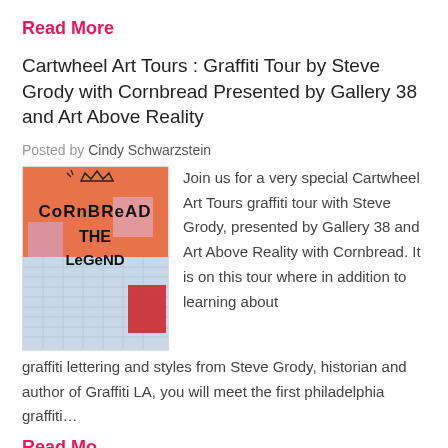Read More
Cartwheel Art Tours : Graffiti Tour by Steve Grody with Cornbread Presented by Gallery 38 and Art Above Reality
Posted by Cindy Schwarzstein
[Figure (photo): Image of a colorful graffiti artwork reading 'Cornbread The Legend']
Join us for a very special Cartwheel Art Tours graffiti tour with Steve Grody, presented by Gallery 38 and Art Above Reality with Cornbread. It is on this tour where in addition to learning about graffiti lettering and styles from Steve Grody, historian and author of Graffiti LA, you will meet the first philadelphia graffiti...
Read More